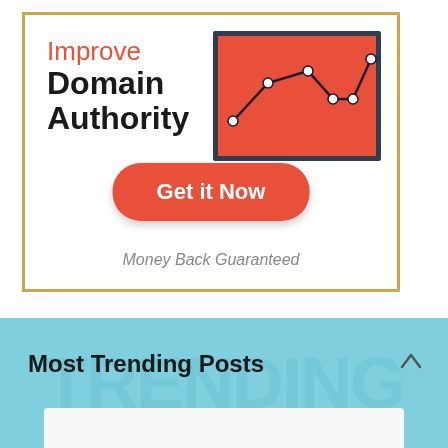[Figure (infographic): Advertisement banner with gold border. Contains 'Improve Domain Authority' heading, a line chart on red background, a red CTA button 'Get it Now', and 'Money Back Guaranteed' text.]
Most Trending Posts